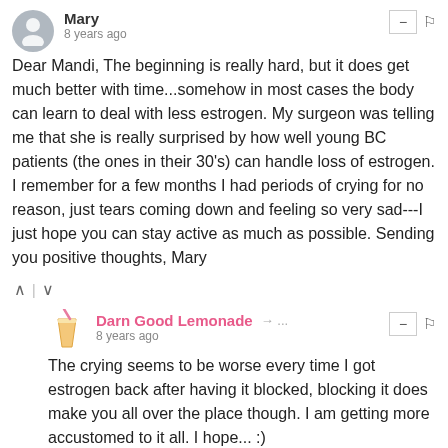Mary · 8 years ago
Dear Mandi, The beginning is really hard, but it does get much better with time...somehow in most cases the body can learn to deal with less estrogen. My surgeon was telling me that she is really surprised by how well young BC patients (the ones in their 30's) can handle loss of estrogen. I remember for a few months I had periods of crying for no reason, just tears coming down and feeling so very sad---I just hope you can stay active as much as possible. Sending you positive thoughts, Mary
Darn Good Lemonade → ... · 8 years ago
The crying seems to be worse every time I got estrogen back after having it blocked, blocking it does make you all over the place though. I am getting more accustomed to it all. I hope... :)